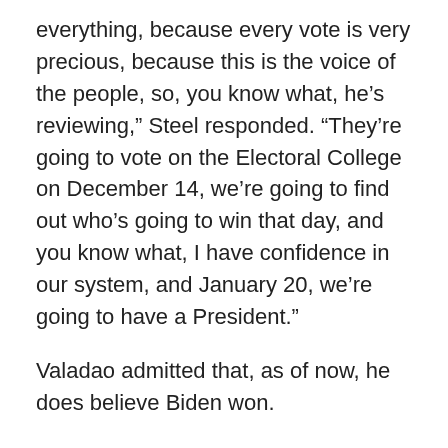everything, because every vote is very precious, because this is the voice of the people, so, you know what, he’s reviewing,” Steel responded. “They’re going to vote on the Electoral College on December 14, we’re going to find out who’s going to win that day, and you know what, I have confidence in our system, and January 20, we’re going to have a President.”
Valadao admitted that, as of now, he does believe Biden won.
“We all know there is fraud out there. Do I believe there’s enough to overturn the President’s election… no I don’t,” Valadao said. “But I do believe we have a responsibility as American citizens to make sure that every single ballot is counted honestly, and fairly, and in a transparent process, and I think that process is